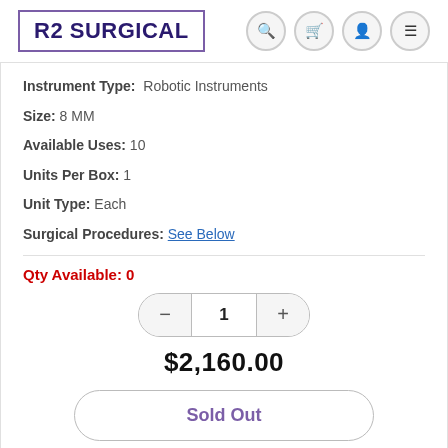R2 SURGICAL
Instrument Type: Robotic Instruments
Size: 8 MM
Available Uses: 10
Units Per Box: 1
Unit Type: Each
Surgical Procedures: See Below
Qty Available: 0
1
$2,160.00
Sold Out